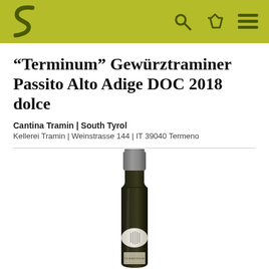S (logo) | search icon | basket icon | menu icon
“Terminum” Gewürztraminer Passito Alto Adige DOC 2018 dolce
Cantina Tramin | South Tyrol
Kellerei Tramin | Weinstrasse 144 | IT 39040 Termeno
[Figure (photo): Wine bottle of Terminum Gewürztraminer Passito with dark glass, grey metallic capsule, and an oval label with vertical line design]